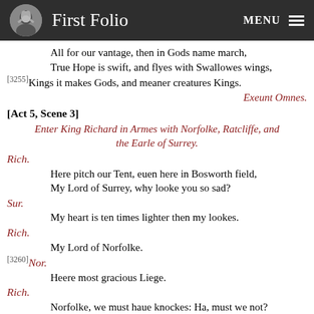First Folio  MENU
All for our vantage, then in Gods name march,
True Hope is swift, and flyes with Swallowes wings,
[3255]Kings it makes Gods, and meaner creatures Kings.
Exeunt Omnes.
[Act 5, Scene 3]
Enter King Richard in Armes with Norfolke, Ratcliffe, and the Earle of Surrey.
Rich.
Here pitch our Tent, euen here in Bosworth field,
My Lord of Surrey, why looke you so sad?
Sur.
My heart is ten times lighter then my lookes.
Rich.
My Lord of Norfolke.
[3260] Nor.
Heere most gracious Liege.
Rich.
Norfolke, we must haue knockes: Ha, must we not?
Nor.
We must both giue and take my louing Lord.
Rich.
Vp with my Tent, heere wil I lye to night,
But where to morrow? Well, all's one for that.
[3265]Who hath descried the number of the Traitors?